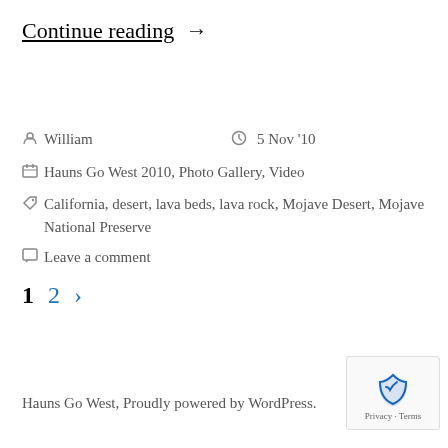Continue reading →
William  5 Nov '10
Hauns Go West 2010, Photo Gallery, Video
California, desert, lava beds, lava rock, Mojave Desert, Mojave National Preserve
Leave a comment
1  2  ›
Hauns Go West, Proudly powered by WordPress.